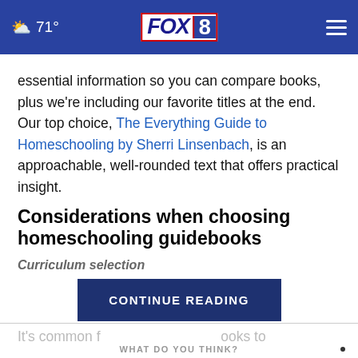71° FOX 8
essential information so you can compare books, plus we're including our favorite titles at the end. Our top choice, The Everything Guide to Homeschooling by Sherri Linsenbach, is an approachable, well-rounded text that offers practical insight.
Considerations when choosing homeschooling guidebooks
Curriculum selection
CONTINUE READING
It's common f... ooks to
WHAT DO YOU THINK?